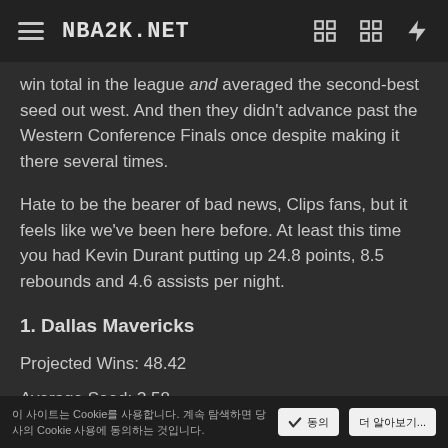NBA2K.NET
win total in the league and averaged the second-best seed out west. And then they didn't advance past the Western Conference Finals once despite making it there several times.
Hate to be the bearer of bad news, Clips fans, but it feels like we've been here before. At least this time you had Kevin Durant putting up 24.8 points, 8.5 rebounds and 4.6 assists per night.
1. Dallas Mavericks
Projected Wins: 48.42
Average Seed: 3.58
Remember when the James Harden Dwight Howard
Cookie 에 대한 동의 여부 Cookie